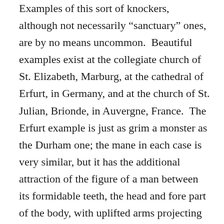Examples of this sort of knockers, although not necessarily “sanctuary” ones, are by no means uncommon. Beautiful examples exist at the collegiate church of St. Elizabeth, Marburg, at the cathedral of Erfurt, in Germany, and at the church of St. Julian, Brionde, in Auvergne, France. The Erfurt example is just as grim a monster as the Durham one; the mane in each case is very similar, but it has the additional attraction of the figure of a man between its formidable teeth, the head and fore part of the body, with uplifted arms projecting from the mouth; but the ring is plain, and it has an additional twisted cable rim encircling the mane.